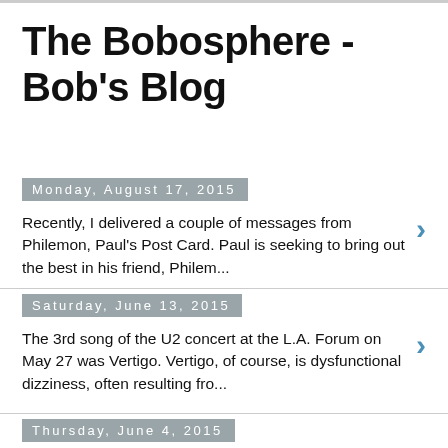The Bobosphere - Bob's Blog
Monday, August 17, 2015
Recently, I delivered a couple of messages from Philemon, Paul's Post Card. Paul is seeking to bring out the best in his friend, Philem...
Saturday, June 13, 2015
The 3rd song of the U2 concert at the L.A. Forum on May 27 was Vertigo. Vertigo, of course, is dysfunctional dizziness, often resulting fro...
Thursday, June 4, 2015
U2 Out of Control
The second song of the concert at the LA forum on 5-27-15 was their first single, Out of Control. Bono has clearly...